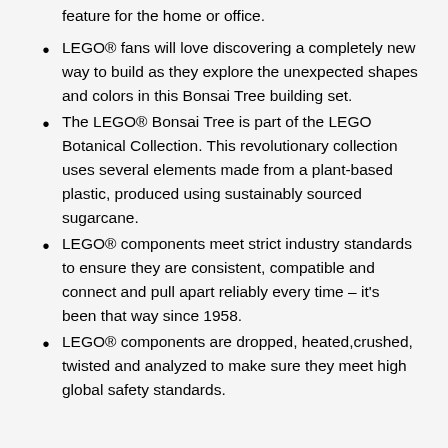feature for the home or office.
LEGO® fans will love discovering a completely new way to build as they explore the unexpected shapes and colors in this Bonsai Tree building set.
The LEGO® Bonsai Tree is part of the LEGO Botanical Collection. This revolutionary collection uses several elements made from a plant-based plastic, produced using sustainably sourced sugarcane.
LEGO® components meet strict industry standards to ensure they are consistent, compatible and connect and pull apart reliably every time – it's been that way since 1958.
LEGO® components are dropped, heated,crushed, twisted and analyzed to make sure they meet high global safety standards.